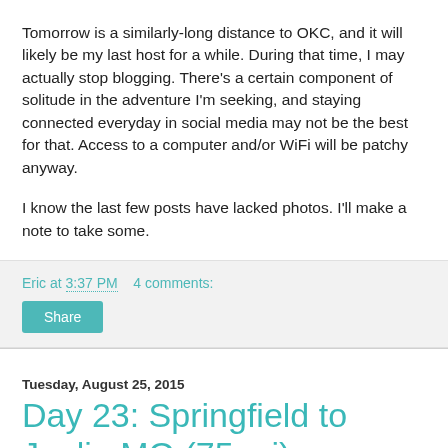Tomorrow is a similarly-long distance to OKC, and it will likely be my last host for a while. During that time, I may actually stop blogging. There's a certain component of solitude in the adventure I'm seeking, and staying connected everyday in social media may not be the best for that. Access to a computer and/or WiFi will be patchy anyway.
I know the last few posts have lacked photos. I'll make a note to take some.
Eric at 3:37 PM    4 comments:
Tuesday, August 25, 2015
Day 23: Springfield to Joplin MO (75 mi)
Another nice ride, with hills here and there. I'm still technically in the northern Ozarks, but my guess is that the